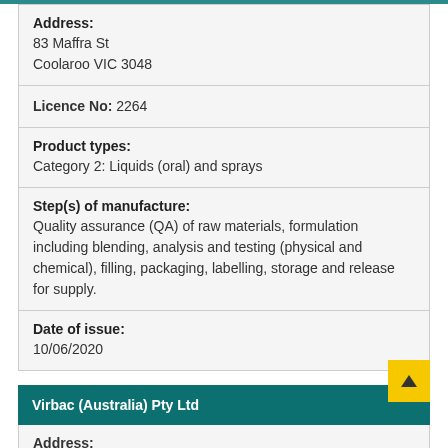Address:
83 Maffra St
Coolaroo VIC 3048
Licence No: 2264
Product types:
Category 2: Liquids (oral) and sprays
Step(s) of manufacture:
Quality assurance (QA) of raw materials, formulation including blending, analysis and testing (physical and chemical), filling, packaging, labelling, storage and release for supply.
Date of issue:
10/06/2020
Virbac (Australia) Pty Ltd
Address: